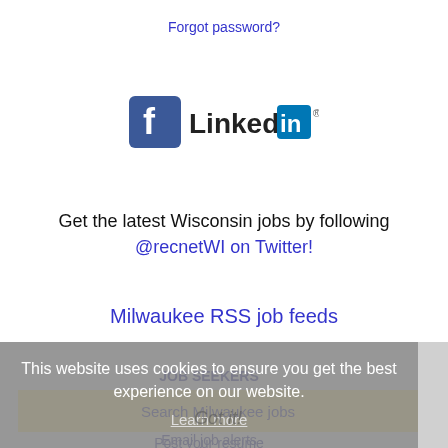Forgot password?
[Figure (logo): Facebook logo icon and LinkedIn logo side by side]
Get the latest Wisconsin jobs by following @recnetWI on Twitter!
Milwaukee RSS job feeds
This website uses cookies to ensure you get the best experience on our website.
Learn more
JOB SEEKERS
Got it!
Search Milwaukee jobs
Post your resume
Email job alerts